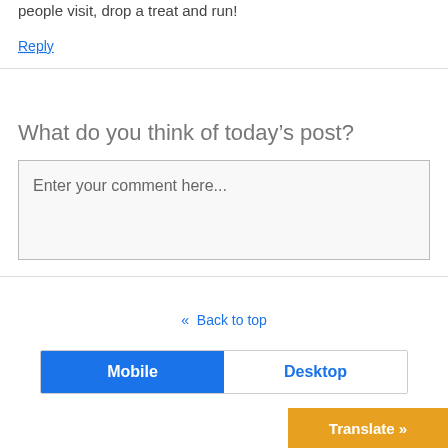people visit, drop a treat and run!
Reply
What do you think of today’s post?
Enter your comment here...
« Back to top
Mobile
Desktop
Translate »